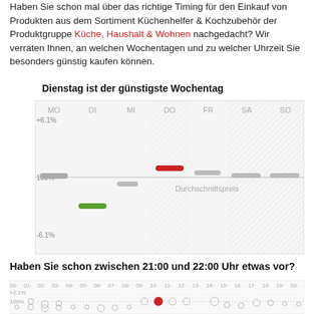Haben Sie schon mal über das richtige Timing für den Einkauf von Produkten aus dem Sortiment Küchenhelfer & Kochzubehör der Produktgruppe Küche, Haushalt & Wohnen nachgedacht? Wir verraten Ihnen, an welchen Wochentagen und zu welcher Uhrzeit Sie besonders günstig kaufen können.
Dienstag ist der günstigste Wochentag
[Figure (other): Bar/dot chart showing price deviation by weekday (MO, DI, MI, DO, FR, SA, SO). DI shows green bar below 100% baseline (around -3% to -4%), DO shows red bar above baseline (+2% to +3%), MO and SA/SO show gray bars near 100%. MI shows small gray bar below baseline. FR shows a gray bar slightly above baseline. Y-axis: +6.1% to -6.1%, baseline at 100% average price (Durchschnittspreis).]
Haben Sie schon zwischen 21:00 und 22:00 Uhr etwas vor?
[Figure (other): Dot/bubble chart showing price deviation by hour (00 to 20+). Y-axis: +2.1% at top, 100% baseline. Circles of varying size shown at each hour. Red filled circle at hour 10. Baseline at 100%.]